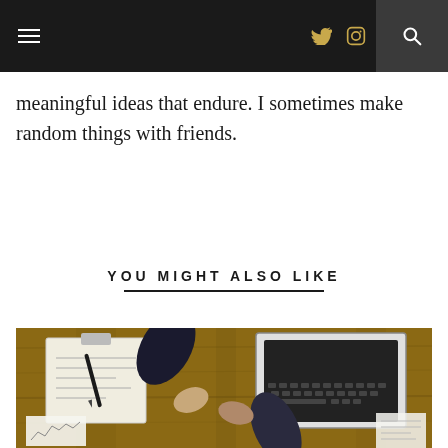Navigation bar with hamburger menu, Twitter icon, Instagram icon, and search icon
meaningful ideas that endure. I sometimes make random things with friends.
YOU MIGHT ALSO LIKE
[Figure (photo): Overhead view of people at a wooden table handshaking, with a clipboard with documents, a pen, a laptop computer, and papers with charts visible]